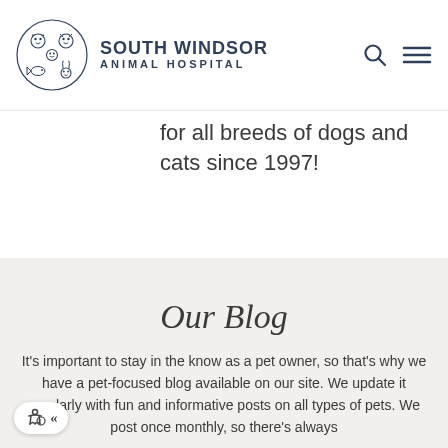SOUTH WINDSOR ANIMAL HOSPITAL
for all breeds of dogs and cats since 1997!
Our Blog
It's important to stay in the know as a pet owner, so that's why we have a pet-focused blog available on our site. We update it regularly with fun and informative posts on all types of pets. We post once monthly, so there's always